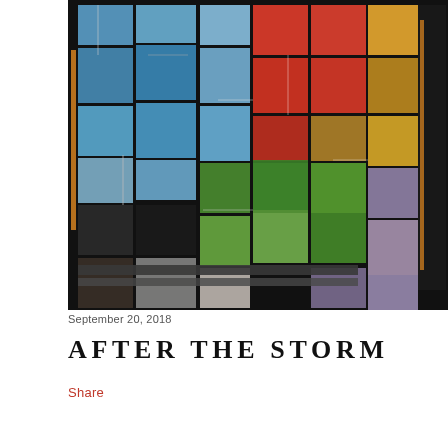[Figure (illustration): A large colorful collage artwork featuring a mosaic of photographic tiles arranged in a puzzle-like pattern. The tiles show various images including blue skies, urban infrastructure, red and orange abstract elements, green landscapes, and dark industrial scenes, all interconnected with pipe-like graphic elements on a dark background.]
September 20, 2018
AFTER THE STORM
Share